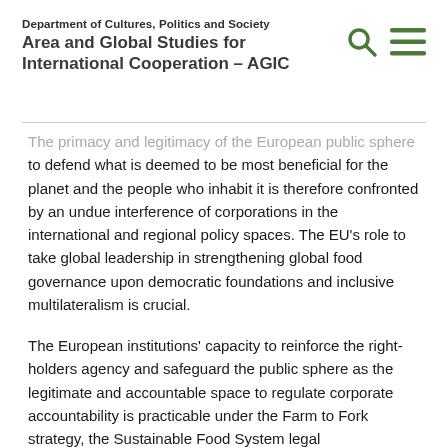Department of Cultures, Politics and Society
Area and Global Studies for International Cooperation – AGIC
The primacy and legitimacy of the European public sphere to defend what is deemed to be most beneficial for the planet and the people who inhabit it is therefore confronted by an undue interference of corporations in the international and regional policy spaces. The EU's role to take global leadership in strengthening global food governance upon democratic foundations and inclusive multilateralism is crucial.
The European institutions' capacity to reinforce the right-holders agency and safeguard the public sphere as the legitimate and accountable space to regulate corporate accountability is practicable under the Farm to Fork strategy, the Sustainable Food System legal